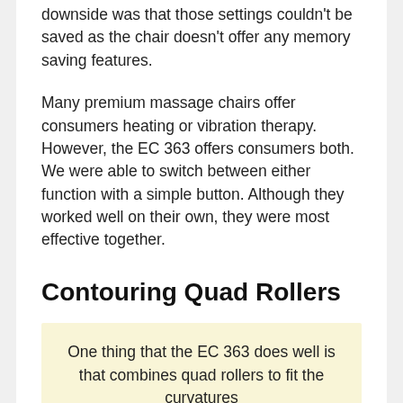downside was that those settings couldn't be saved as the chair doesn't offer any memory saving features.
Many premium massage chairs offer consumers heating or vibration therapy. However, the EC 363 offers consumers both. We were able to switch between either function with a simple button. Although they worked well on their own, they were most effective together.
Contouring Quad Rollers
One thing that the EC 363 does well is that combines quad rollers to fit the curvatures